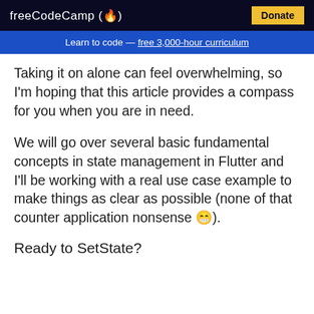freeCodeCamp(🔥)  Donate
Learn to code — free 3,000-hour curriculum
Taking it on alone can feel overwhelming, so I'm hoping that this article provides a compass for you when you are in need.
We will go over several basic fundamental concepts in state management in Flutter and I'll be working with a real use case example to make things as clear as possible (none of that counter application nonsense 😁).
Ready to SetState?